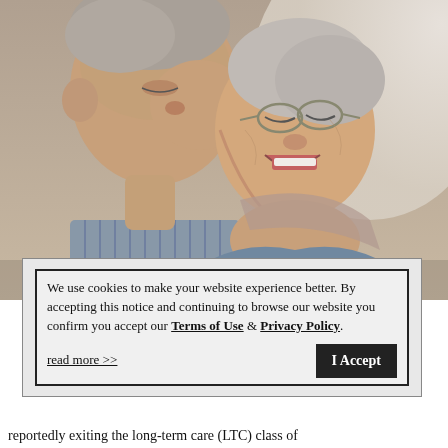[Figure (photo): Elderly couple laughing together, man kissing woman on the cheek, both with grey/white hair, woman wearing glasses and a blue-grey cardigan]
We use cookies to make your website experience better. By accepting this notice and continuing to browse our website you confirm you accept our Terms of Use & Privacy Policy.

read more >>

I Accept
reportedly exiting the long-term care (LTC) class of